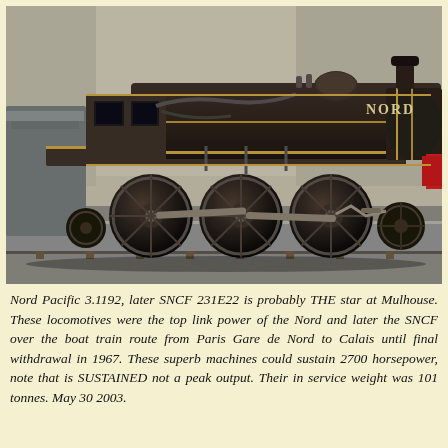[Figure (photo): A large black steam locomotive labeled 'NORD' on display inside a museum hall, viewed from a low angle along the side. The locomotive has prominent driving wheels, detailed pipework, gold trim, and a red buffer beam visible at the right end. It sits on tracks on a concrete platform inside a large industrial building.]
Nord Pacific 3.1192, later SNCF 231E22 is probably THE star at Mulhouse. These locomotives were the top link power of the Nord and later the SNCF over the boat train route from Paris Gare de Nord to Calais until final withdrawal in 1967. These superb machines could sustain 2700 horsepower, note that is SUSTAINED not a peak output. Their in service weight was 101 tonnes. May 30 2003.